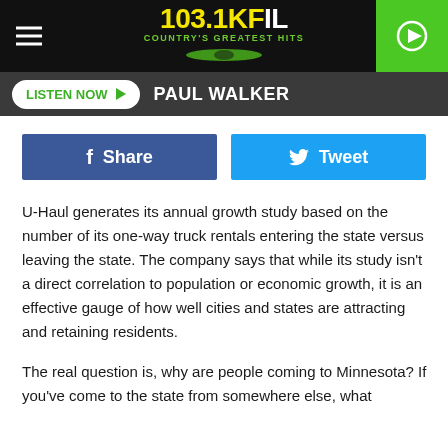103.1 KFIL Country's Greatest Hits
LISTEN NOW   PAUL WALKER
[Figure (infographic): Facebook Share button and Twitter Tweet button side by side]
U-Haul generates its annual growth study based on the number of its one-way truck rentals entering the state versus leaving the state. The company says that while its study isn't a direct correlation to population or economic growth, it is an effective gauge of how well cities and states are attracting and retaining residents.
The real question is, why are people coming to Minnesota? If you've come to the state from somewhere else, what